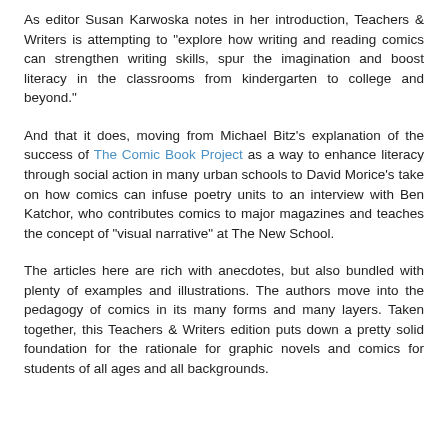As editor Susan Karwoska notes in her introduction, Teachers & Writers is attempting to "explore how writing and reading comics can strengthen writing skills, spur the imagination and boost literacy in the classrooms from kindergarten to college and beyond."
And that it does, moving from Michael Bitz's explanation of the success of The Comic Book Project as a way to enhance literacy through social action in many urban schools to David Morice's take on how comics can infuse poetry units to an interview with Ben Katchor, who contributes comics to major magazines and teaches the concept of "visual narrative" at The New School.
The articles here are rich with anecdotes, but also bundled with plenty of examples and illustrations. The authors move into the pedagogy of comics in its many forms and many layers. Taken together, this Teachers & Writers edition puts down a pretty solid foundation for the rationale for graphic novels and comics for students of all ages and all backgrounds.